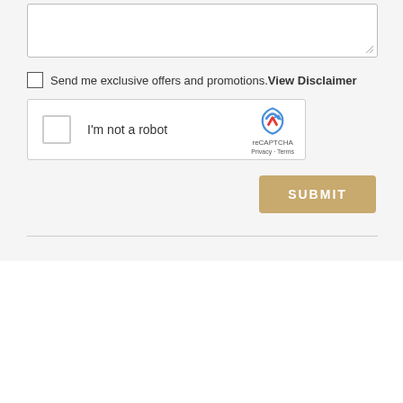[Figure (screenshot): Textarea input field with resize handle at bottom right, part of a web form]
Send me exclusive offers and promotions. View Disclaimer
[Figure (screenshot): reCAPTCHA widget with checkbox labeled 'I'm not a robot', reCAPTCHA logo, Privacy and Terms links]
[Figure (screenshot): SUBMIT button in golden/tan color]
It's a great time to buy a Chevrolet! Click here to get online exclusive offers.